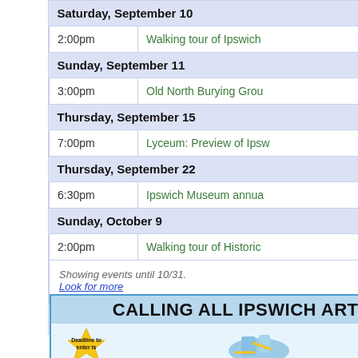| Time | Event |
| --- | --- |
| Saturday, September 10 |  |
| 2:00pm | Walking tour of Ipswich |
| Sunday, September 11 |  |
| 3:00pm | Old North Burying Grou |
| Thursday, September 15 |  |
| 7:00pm | Lyceum: Preview of Ipsw |
| Thursday, September 22 |  |
| 6:30pm | Ipswich Museum annua |
| Sunday, October 9 |  |
| 2:00pm | Walking tour of Historic |
Showing events until 10/31.
Look for more
[Figure (logo): Google Calendar button with blue plus icon and Google logo]
[Figure (infographic): Calling All Ipswich Artists! advertisement with starburst showing deadline, illustrated figures, and Sponsors of text]